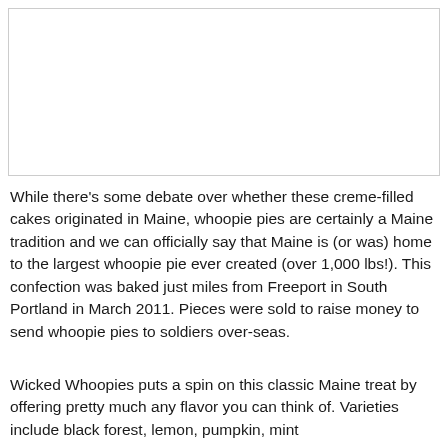[Figure (photo): A photograph placeholder (white rectangle with border), likely showing whoopie pies or related food imagery.]
While there's some debate over whether these creme-filled cakes originated in Maine, whoopie pies are certainly a Maine tradition and we can officially say that Maine is (or was) home to the largest whoopie pie ever created (over 1,000 lbs!). This confection was baked just miles from Freeport in South Portland in March 2011. Pieces were sold to raise money to send whoopie pies to soldiers over-seas.
Wicked Whoopies puts a spin on this classic Maine treat by offering pretty much any flavor you can think of. Varieties include black forest, lemon, pumpkin, mint